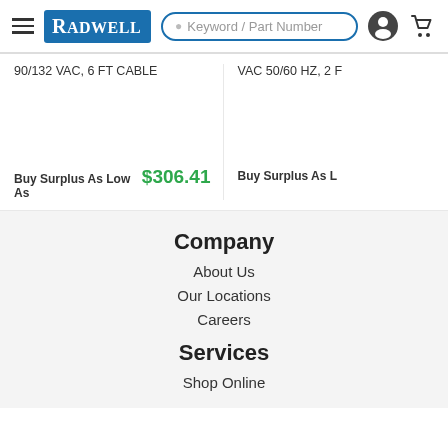[Figure (logo): Radwell logo in blue rectangle with white text, hamburger menu icon, search bar with placeholder text 'Keyword / Part Number', user account icon, and shopping cart icon]
90/132 VAC, 6 FT CABLE
VAC 50/60 HZ, 2 F
Buy Surplus As Low As $306.41
Buy Surplus As L
Company
About Us
Our Locations
Careers
Services
Shop Online